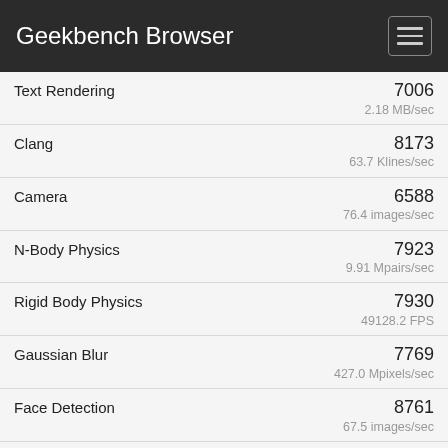Geekbench Browser
| Benchmark | Score | Unit |
| --- | --- | --- |
| Text Rendering | 7006 | 2.18 MB/sec |
| Clang | 8173 | 63.7 Klines/sec |
| Camera | 6588 | 76.4 images/sec |
| N-Body Physics | 7923 | 9.91 Mpairs/sec |
| Rigid Body Physics | 7930 | 49128.2 FPS |
| Gaussian Blur | 7769 | 427.0 Mpixels/sec |
| Face Detection | 8761 | 67.5 images/sec |
| Horizon Detection | 9122 | 224.8 Mpixels/sec |